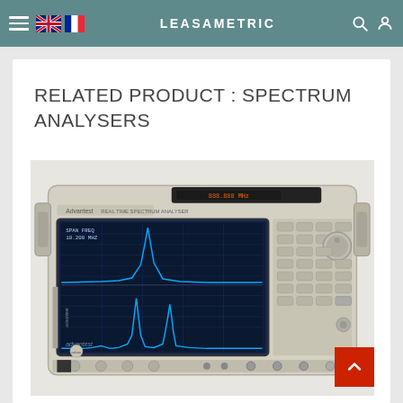LEASAMETRIC
RELATED PRODUCT : SPECTRUM ANALYSERS
[Figure (photo): Photograph of a spectrum analyser instrument — a portable bench-top unit with beige/cream casing, a blue LCD display showing spectrum waveforms, and a panel of buttons and controls on the right side.]